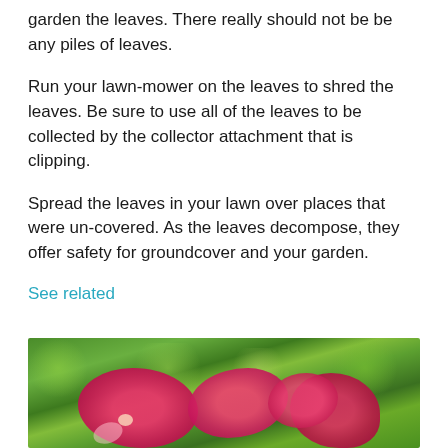garden the leaves. There really should not be be any piles of leaves.
Run your lawn-mower on the leaves to shred the leaves. Be sure to use all of the leaves to be collected by the collector attachment that is clipping.
Spread the leaves in your lawn over places that were un-covered. As the leaves decompose, they offer safety for groundcover and your garden.
See related
[Figure (photo): A close-up photo of bright pink/red flowers (gerbera daisies or similar) against a blurred green foliage background.]